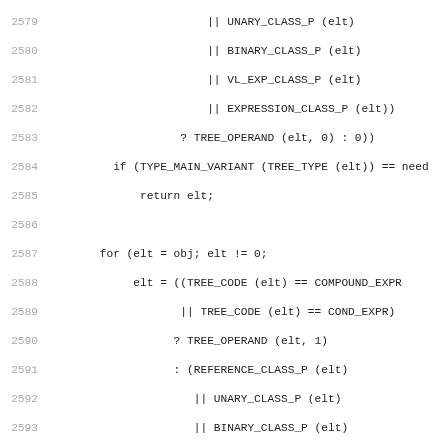Source code listing, lines 2579-2610, showing C/C++ code for tree expression handling including UNARY_CLASS_P, BINARY_CLASS_P, VL_EXP_CLASS_P, EXPRESSION_CLASS_P, TREE_OPERAND, TREE_CODE, COMPOUND_EXPR, COND_EXPR, REFERENCE_CLASS_P, POINTER_TYPE_P, TYPE_MAIN_VARIANT, fold_build1, INDIRECT_REF, TREE_LIST, TREE_CHAIN, TREE_OPERANDS